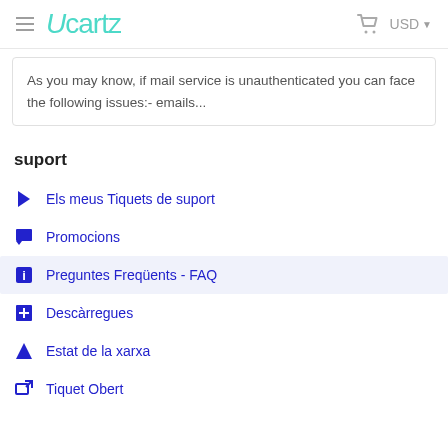Ucartz  USD
As you may know, if mail service is unauthenticated you can face the following issues:- emails...
suport
Els meus Tiquets de suport
Promocions
Preguntes Freqüents - FAQ
Descàrregues
Estat de la xarxa
Tiquet Obert